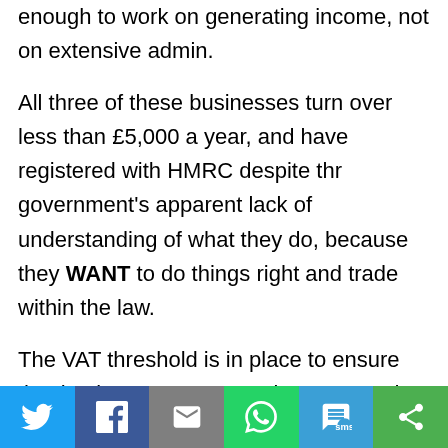enough to work on generating income, not on extensive admin.
All three of these businesses turn over less than £5,000 a year, and have registered with HMRC despite thr government's apparent lack of understanding of what they do, because they WANT to do things right and trade within the law.
The VAT threshold is in place to ensure that businesses can start, innovate and
[Figure (infographic): Social media sharing toolbar with icons for Twitter, Facebook, Email, WhatsApp, SMS, and More (share) buttons]